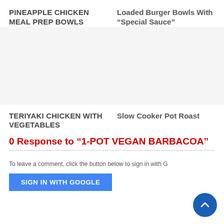PINEAPPLE CHICKEN MEAL PREP BOWLS
Loaded Burger Bowls With “Special Sauce”
[Figure (photo): Image placeholder for Pineapple Chicken Meal Prep Bowls]
[Figure (photo): Image placeholder for Loaded Burger Bowls With Special Sauce]
TERIYAKI CHICKEN WITH VEGETABLES
Slow Cooker Pot Roast
0 Response to "1-POT VEGAN BARBACOA"
To leave a comment, click the button below to sign in with G
SIGN IN WITH GOOGLE